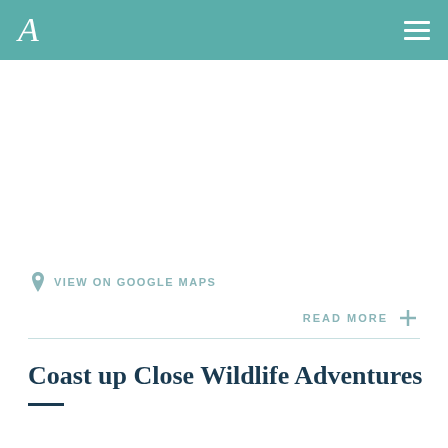A
VIEW ON GOOGLE MAPS
READ MORE +
Coast up Close Wildlife Adventures